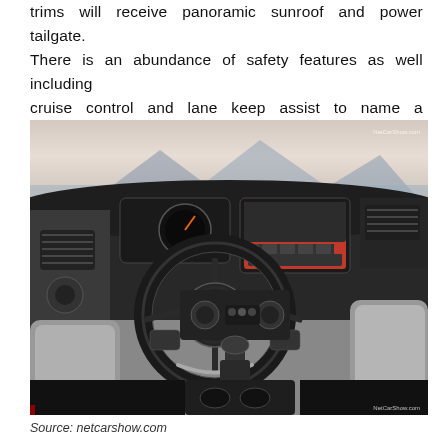trims will receive panoramic sunroof and power tailgate. There is an abundance of safety features as well including cruise control and lane keep assist to name a few.
[Figure (photo): Interior photograph of a Jeep vehicle showing the steering wheel with Jeep logo, dashboard with infotainment screen, gear shifter, and grey/black interior trim. Watermark 'NetCarShow.com' visible in upper right and lower right corners.]
Source: netcarshow.com